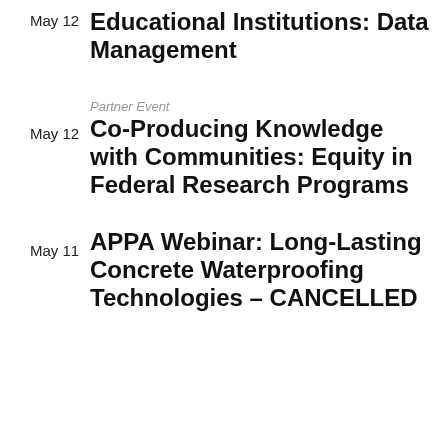May 12
Educational Institutions: Data Management
Partner Event
May 12
Co-Producing Knowledge with Communities: Equity in Federal Research Programs
May 11
APPA Webinar: Long-Lasting Concrete Waterproofing Technologies – CANCELLED